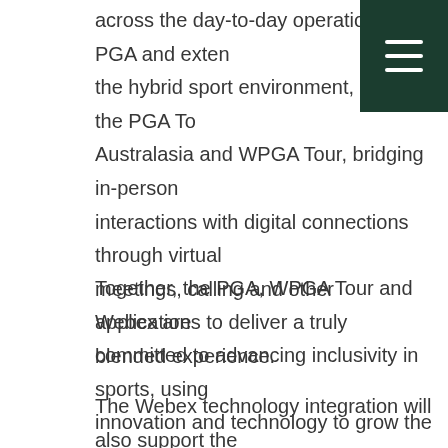across the day-to-day operations of PGA and extending the hybrid sport environment, including the PGA Tour Australasia and WPGA Tour, bridging in-person interactions with digital connections through virtual meetings, calling and other applications to deliver a truly blended experience.
Together, the PGA, WPGA Tour and Webex are committed to advancing inclusivity in sports, using innovation and technology to grow the game, and inspire the next generation of golf fans and players.
The Webex technology integration will also support the growth of women's golf through networking and development sessions and the relaunching of its current